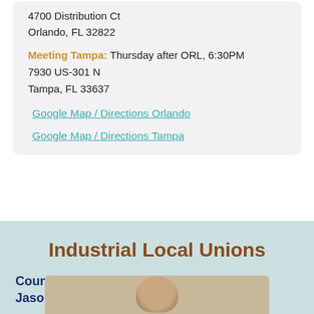4700 Distribution Ct
Orlando, FL 32822
Meeting Tampa: Thursday after ORL, 6:30PM
7930 US-301 N
Tampa, FL 33637
Google Map / Directions Orlando
Google Map / Directions Tampa
Industrial Local Unions
Council Representative:
Jason Weitzel
[Figure (photo): Partial photo of a person (Jason Weitzel), showing top of head, at bottom of page]